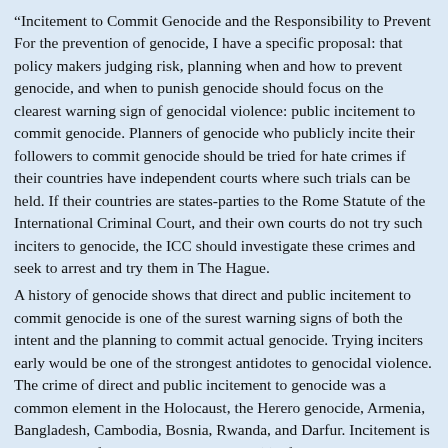“Incitement to Commit Genocide and the Responsibility to Prevent For the prevention of genocide, I have a specific proposal: that policy makers judging risk, planning when and how to prevent genocide, and when to punish genocide should focus on the clearest warning sign of genocidal violence: public incitement to commit genocide. Planners of genocide who publicly incite their followers to commit genocide should be tried for hate crimes if their countries have independent courts where such trials can be held. If their countries are states-parties to the Rome Statute of the International Criminal Court, and their own courts do not try such inciters to genocide, the ICC should investigate these crimes and seek to arrest and try them in The Hague.
A history of genocide shows that direct and public incitement to commit genocide is one of the surest warning signs of both the intent and the planning to commit actual genocide. Trying inciters early would be one of the strongest antidotes to genocidal violence. The crime of direct and public incitement to genocide was a common element in the Holocaust, the Herero genocide, Armenia, Bangladesh, Cambodia, Bosnia, Rwanda, and Darfur. Incitement is a crime specifically named in Article 3 (c) of the Genocide Convention. Actual genocide need not be completed for an inciter to be tried for the crime. In fact, Julius Streicher, publisher of Der Stürmer, the Nazi propaganda newspaper, was hanged for crimes against humanity, even though he himself had committed no murders. Conspiracy to commit genocide is also a